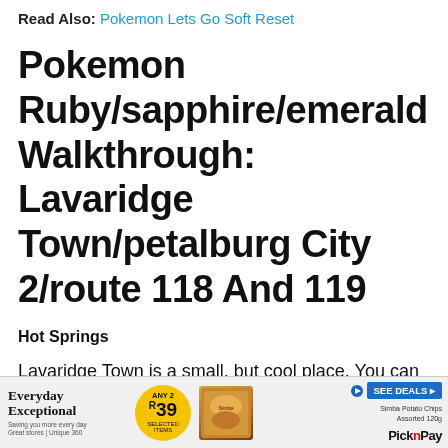Read Also: Pokemon Lets Go Soft Reset
Pokemon Ruby/sapphire/emerald Walkthrough: Lavaridge Town/petalburg City 2/route 118 And 119
Hot Springs
Lavaridge Town is a small, but cool place. You can go into the Pokemon Center and go through the back door to enjoy a dip in the hot spring. Outside, people are buried in hot sand. The old lady above the old man will give you an egg that
[Figure (advertisement): Pick n Pay advertisement banner showing 'Everyday Exceptional' text, yellow circle with ANY 2 R39 offer, Simba Potato Chips product image, SEE DEALS button, and Pick n Pay logo]